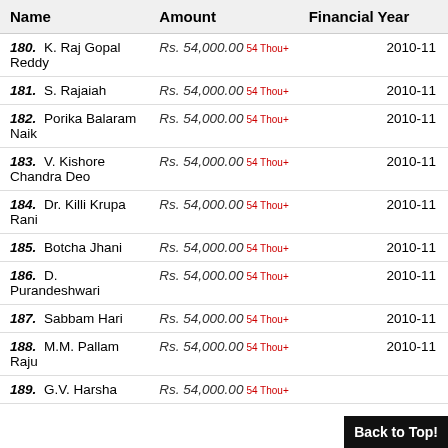| Name | Amount | Financial Year |
| --- | --- | --- |
| 180. K. Raj Gopal Reddy | Rs. 54,000.00  54 Thou+ | 2010-11 |
| 181. S. Rajaiah | Rs. 54,000.00  54 Thou+ | 2010-11 |
| 182. Porika Balaram Naik | Rs. 54,000.00  54 Thou+ | 2010-11 |
| 183. V. Kishore Chandra Deo | Rs. 54,000.00  54 Thou+ | 2010-11 |
| 184. Dr. Killi Krupa Rani | Rs. 54,000.00  54 Thou+ | 2010-11 |
| 185. Botcha Jhani | Rs. 54,000.00  54 Thou+ | 2010-11 |
| 186. D. Purandeshwari | Rs. 54,000.00  54 Thou+ | 2010-11 |
| 187. Sabbam Hari | Rs. 54,000.00  54 Thou+ | 2010-11 |
| 188. M.M. Pallam Raju | Rs. 54,000.00  54 Thou+ | 2010-11 |
| 189. G.V. Harsha ... | Rs. 54,000.00  54 Thou+ | 2010-11 |